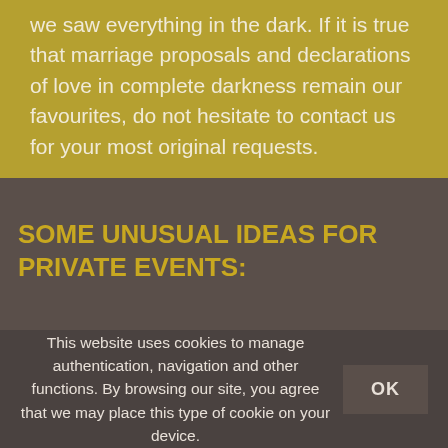we saw everything in the dark. If it is true that marriage proposals and declarations of love in complete darkness remain our favourites, do not hesitate to contact us for your most original requests.
SOME UNUSUAL IDEAS FOR PRIVATE EVENTS:
This website uses cookies to manage authentication, navigation and other functions. By browsing our site, you agree that we may place this type of cookie on your device.